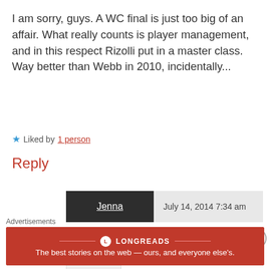I am sorry, guys. A WC final is just too big of an affair. What really counts is player management, and in this respect Rizolli put in a master class. Way better than Webb in 2010, incidentally...
★ Liked by 1 person
Reply
Jenna   July 14, 2014 7:34 am
[Figure (logo): Tottenham Hotspur logo]
Personally, any time you have to resort to "IF HE HAD SENT OFF SO AND SO, WE'D HAVE WON". you're being
Advertisements
[Figure (infographic): Longreads ad banner: The best stories on the web — ours, and everyone else's.]